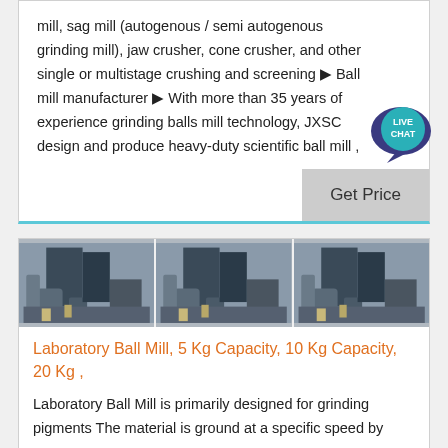mill, sag mill (autogenous / semi autogenous grinding mill), jaw crusher, cone crusher, and other single or multistage crushing and screening ▶ Ball mill manufacturer ▶ With more than 35 years of experience grinding balls mill technology, JXSC design and produce heavy-duty scientific ball mill ,
[Figure (other): Live Chat speech bubble icon with teal background and white text reading LIVE CHAT]
Get Price
[Figure (photo): Three identical photos of industrial ball mill machinery at a facility, showing large equipment structures]
Laboratory Ball Mill, 5 Kg Capacity, 10 Kg Capacity, 20 Kg ,
Laboratory Ball Mill is primarily designed for grinding pigments The material is ground at a specific speed by